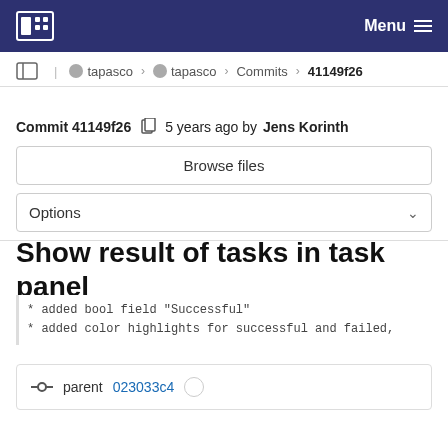Menu
tapasco > tapasco > Commits > 41149f26
Commit 41149f26  5 years ago by Jens Korinth
Browse files
Options
Show result of tasks in task panel
* added bool field "Successful"
* added color highlights for successful and failed,
parent 023033c4